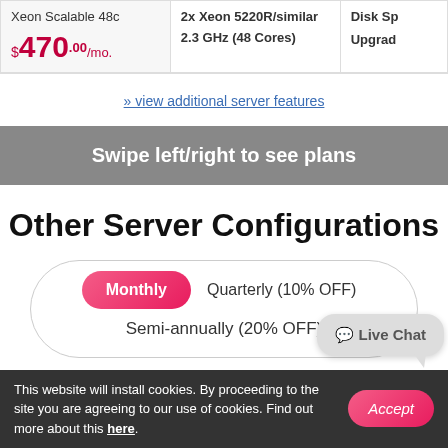| Server | Processor | Disk |
| --- | --- | --- |
| Xeon Scalable 48c
$470.00/mo. | 2x Xeon 5220R/similar
2.3 GHz (48 Cores) | Disk Sp...
Upgrad... |
» view additional server features
Swipe left/right to see plans
Other Server Configurations
Monthly   Quarterly (10% OFF)   Semi-annually (20% OFF)
This website will install cookies. By proceeding to the site you are agreeing to our use of cookies. Find out more about this here.